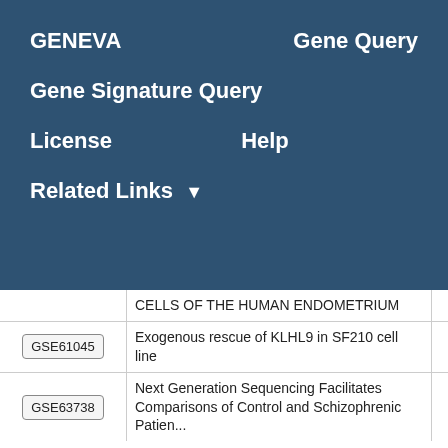GENEVA    Gene Query
Gene Signature Query
License    Help
Related Links ▼
|  | Title | Score |
| --- | --- | --- |
|  | CELLS OF THE HUMAN ENDOMETRIUM |  |
| GSE61045 | Exogenous rescue of KLHL9 in SF210 cell line | 1.53 |
| GSE63738 | Next Generation Sequencing Facilitates Comparisons of Control and Schizophrenic Patients... | 1.46 |